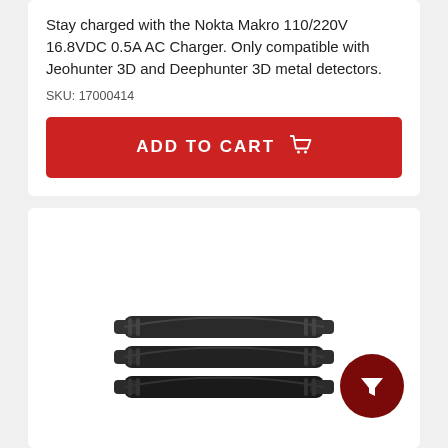Stay charged with the Nokta Makro 110/220V 16.8VDC 0.5A AC Charger. Only compatible with Jeohunter 3D and Deephunter 3D metal detectors.
SKU: 17000414
ADD TO CART
[Figure (photo): Black metal clips/clamps product photo, multiple units stacked together]